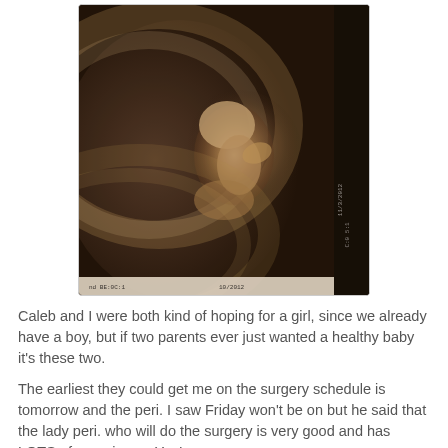[Figure (photo): A black and white ultrasound image of a fetus, taken at Scott and White medical facility. The image shows the fetus in profile. Date markings visible on the right side reading '10/2012' and other technical data.]
Caleb and I were both kind of hoping for a girl, since we already have a boy, but if two parents ever just wanted a healthy baby it's these two.
The earliest they could get me on the surgery schedule is tomorrow and the peri. I saw Friday won't be on but he said that the lady peri. who will do the surgery is very good and has LOTS of experience. Yay!